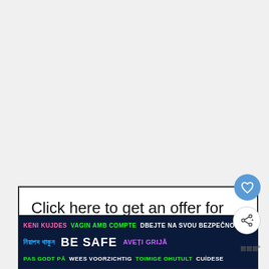[Figure (other): Large blank/white area at top of page — main content region (mostly empty/white)]
Click here to get an offer for travel insurance
[Figure (infographic): BE SAFE multilingual safety banner with text in multiple languages and colors on dark blue background: KENI KUJDES, VAGIN AMB COMPTE, DBEJTE NA SVOU BEZPEČNOST, নিরাপদ থাকুন, BE SAFE, AVEȚI GRIJĂ, PAS GODT PÅ, WEES VOORZICHTIG, TOIMIGE OHUTULT, CUÍDESE]